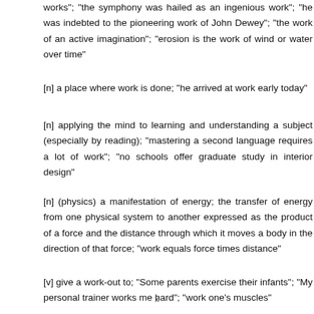works"; "the symphony was hailed as an ingenious work"; "he was indebted to the pioneering work of John Dewey"; "the work of an active imagination"; "erosion is the work of wind or water over time"
[n] a place where work is done; "he arrived at work early today"
[n] applying the mind to learning and understanding a subject (especially by reading); "mastering a second language requires a lot of work"; "no schools offer graduate study in interior design"
[n] (physics) a manifestation of energy; the transfer of energy from one physical system to another expressed as the product of a force and the distance through which it moves a body in the direction of that force; "work equals force times distance"
[v] give a work-out to; "Some parents exercise their infants"; "My personal trainer works me hard"; "work one's muscles"
[v] ...
x